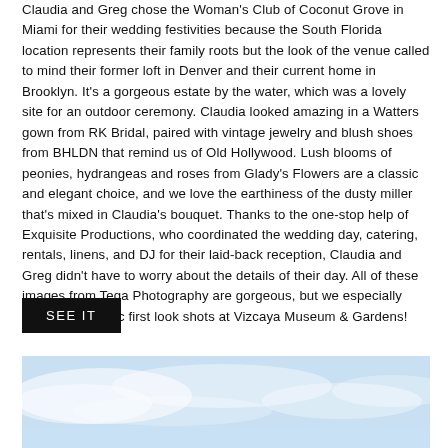Claudia and Greg chose the Woman's Club of Coconut Grove in Miami for their wedding festivities because the South Florida location represents their family roots but the look of the venue called to mind their former loft in Denver and their current home in Brooklyn. It's a gorgeous estate by the water, which was a lovely site for an outdoor ceremony. Claudia looked amazing in a Watters gown from RK Bridal, paired with vintage jewelry and blush shoes from BHLDN that remind us of Old Hollywood. Lush blooms of peonies, hydrangeas and roses from Glady's Flowers are a classic and elegant choice, and we love the earthiness of the dusty miller that's mixed in Claudia's bouquet. Thanks to the one-stop help of Exquisite Productions, who coordinated the wedding day, catering, rentals, linens, and DJ for their laid-back reception, Claudia and Greg didn't have to worry about the details of their day. All of these images from Tega Photography are gorgeous, but we especially love the romantic first look shots at Vizcaya Museum & Gardens!
SEE IT
[Figure (photo): Sky with clouds, light blue tones, partial view of an outdoor scene]